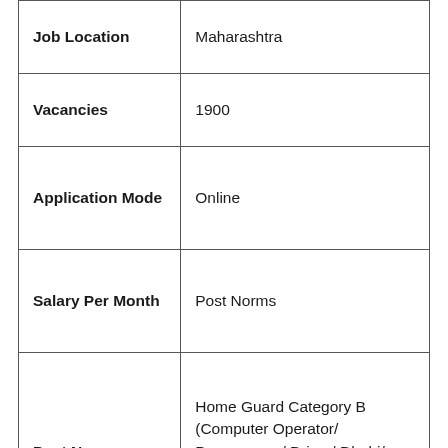| Field | Value |
| --- | --- |
| Job Location | Maharashtra |
| Vacancies | 1900 |
| Application Mode | Online |
| Salary Per Month | Post Norms |
| Post Name | Home Guard Category B (Computer Operator/ Programmer/ Driver/ Dhobi/ Washerman/ Carpenter/ Electrician / Plumber) |